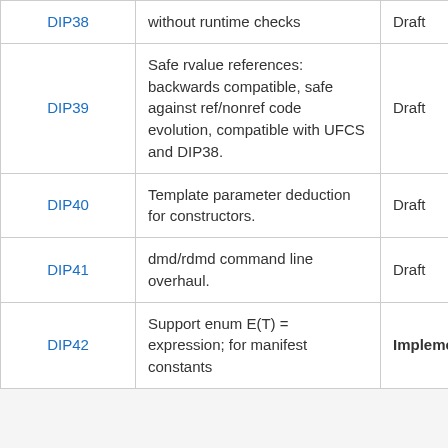| DIP | Description | Status |
| --- | --- | --- |
| DIP38 | without runtime checks | Draft |
| DIP39 | Safe rvalue references: backwards compatible, safe against ref/nonref code evolution, compatible with UFCS and DIP38. | Draft |
| DIP40 | Template parameter deduction for constructors. | Draft |
| DIP41 | dmd/rdmd command line overhaul. | Draft |
| DIP42 | Support enum E(T) = expression; for manifest constants | Implemented |